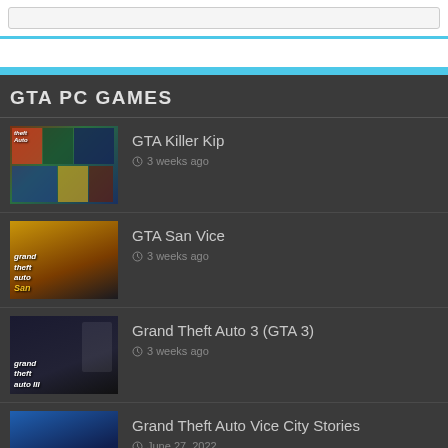GTA PC GAMES
GTA Killer Kip
3 weeks ago
GTA San Vice
3 weeks ago
Grand Theft Auto 3 (GTA 3)
3 weeks ago
Grand Theft Auto Vice City Stories
June 27, 2022